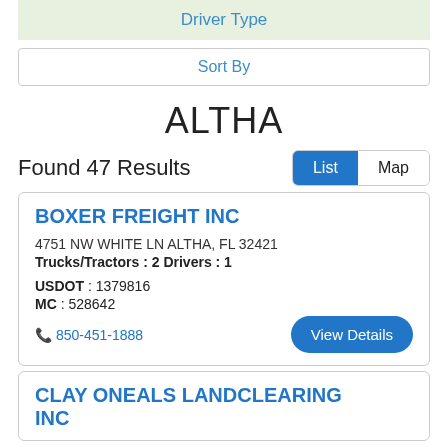Driver Type
Sort By
ALTHA
Found 47 Results
List  Map
BOXER FREIGHT INC
4751 NW WHITE LN ALTHA, FL 32421
Trucks/Tractors : 2 Drivers : 1
USDOT : 1379816
MC : 528642
850-451-1888
View Details
CLAY ONEALS LANDCLEARING INC